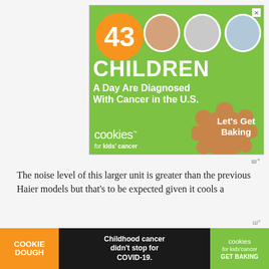[Figure (illustration): Advertisement banner for 'cookies for kids cancer'. Green background with orange bubble showing '43', three circular child photo placeholders, large white text reading '43 CHILDREN A Day Are Diagnosed With Cancer in the U.S.', cookies for kids cancer logo, and 'Let's Get Baking' call to action with cookie image.]
The noise level of this larger unit is greater than the previous Haier models but that's to be expected given it cools a bi...
[Figure (illustration): Bottom advertisement banner with dark background. Left section: orange 'COOKIE DOUGH' text. Middle: 'Childhood cancer didn't stop for COVID-19.' Right: green 'cookies for kids cancer' logo with 'GET BAKING' CTA.]